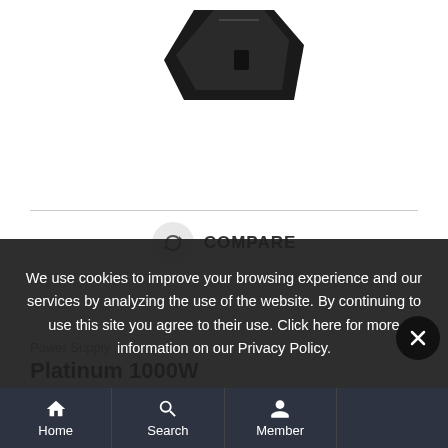[Figure (photo): Partial view of a black power supply unit against white background]
COMPARE
Power Supply
Platinum 1000W
We use cookies to improve your browsing experience and our services by analyzing the use of the website. By continuing to use this site you agree to their use. Click here for more information on our Privacy Policy.
Home  Search  Member